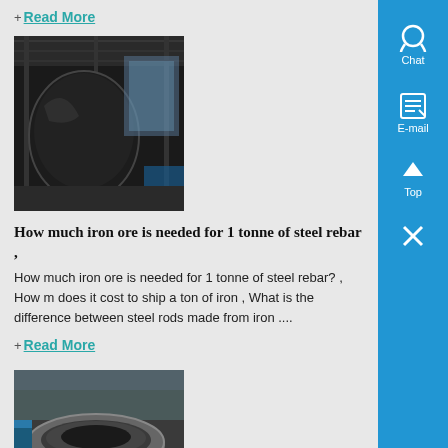+ Read More
[Figure (photo): Industrial factory interior with large dark metal structure or vessel being manufactured]
How much iron ore is needed for 1 tonne of steel rebar ,
How much iron ore is needed for 1 tonne of steel rebar? , How m does it cost to ship a ton of iron , What is the difference between steel rods made from iron ....
+ Read More
[Figure (photo): Large circular steel ring gear or industrial component on factory floor with workers nearby]